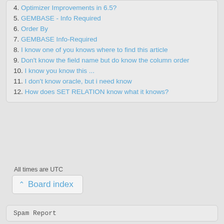4. Optimizer Improvements in 6.5?
5. GEMBASE - Info Required
6. Order By
7. GEMBASE Info-Required
8. I know one of you knows where to find this article
9. Don't know the field name but do know the column order
10. I know you know this ...
11. I don't know oracle, but i need know
12. How does SET RELATION know what it knows?
All times are UTC
Board index
Spam Report